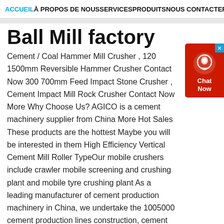ACCUEIL À PROPOS DE NOUS SERVICES PRODUITS NOUS CONTACTER
Ball Mill factory
Cement / Coal Hammer Mill Crusher , 120 1500mm Reversible Hammer Crusher Contact Now 300 700mm Feed Impact Stone Crusher , Cement Impact Mill Rock Crusher Contact Now More Why Choose Us? AGICO is a cement machinery supplier from China More Hot Sales These products are the hottest Maybe you will be interested in them High Efficiency Vertical Cement Mill Roller TypeOur mobile crushers include crawler mobile screening and crushing plant and mobile tyre crushing plant As a leading manufacturer of cement production machinery in China, we undertake the 1005000 cement production lines construction, cement technological design and cement plant construction